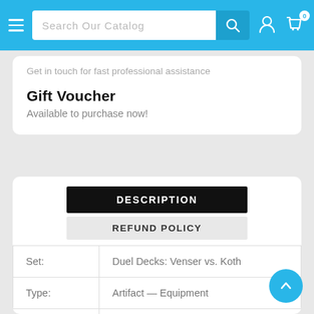[Figure (screenshot): Navigation bar with hamburger menu, search box labeled 'Search Our Catalog', search icon button, user account icon, and cart icon with '0' badge]
Get in touch for fast professional assistance
Gift Voucher
Available to purchase now!
DESCRIPTION
REFUND POLICY
| Set: | Duel Decks: Venser vs. Koth |
| Type: | Artifact — Equipment |
| Rarity: | Uncommon |